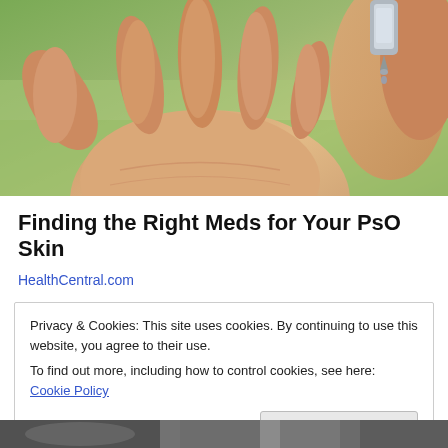[Figure (photo): Close-up photo of a hand with open palm and fingers, with someone dispensing liquid from a small bottle/dropper onto the palm. Green background visible.]
Finding the Right Meds for Your PsO Skin
HealthCentral.com
Privacy & Cookies: This site uses cookies. By continuing to use this website, you agree to their use.
To find out more, including how to control cookies, see here: Cookie Policy
Close and accept
[Figure (photo): Partial photo visible at bottom of page, appears to show a person/face.]